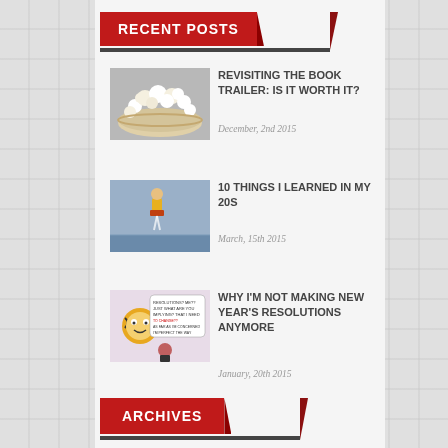RECENT POSTS
REVISITING THE BOOK TRAILER: IS IT WORTH IT?
December, 2nd 2015
10 THINGS I LEARNED IN MY 20S
March, 15th 2015
WHY I'M NOT MAKING NEW YEAR'S RESOLUTIONS ANYMORE
January, 20th 2015
ARCHIVES